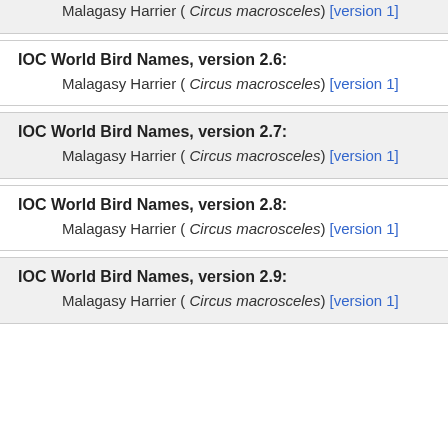Malagasy Harrier ( Circus macrosceles) [version 1]
IOC World Bird Names, version 2.6:
Malagasy Harrier ( Circus macrosceles) [version 1]
IOC World Bird Names, version 2.7:
Malagasy Harrier ( Circus macrosceles) [version 1]
IOC World Bird Names, version 2.8:
Malagasy Harrier ( Circus macrosceles) [version 1]
IOC World Bird Names, version 2.9:
Malagasy Harrier ( Circus macrosceles) [version 1]